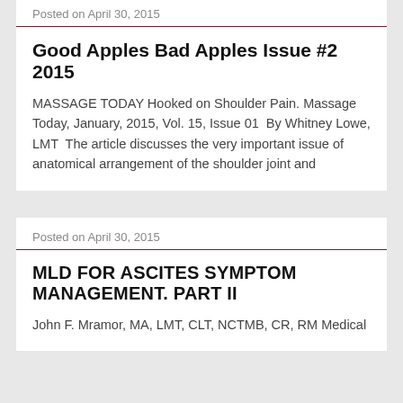Posted on April 30, 2015
Good Apples Bad Apples Issue #2 2015
MASSAGE TODAY Hooked on Shoulder Pain. Massage Today, January, 2015, Vol. 15, Issue 01  By Whitney Lowe, LMT  The article discusses the very important issue of anatomical arrangement of the shoulder joint and
Posted on April 30, 2015
MLD FOR ASCITES SYMPTOM MANAGEMENT. PART II
John F. Mramor, MA, LMT, CLT, NCTMB, CR, RM Medical